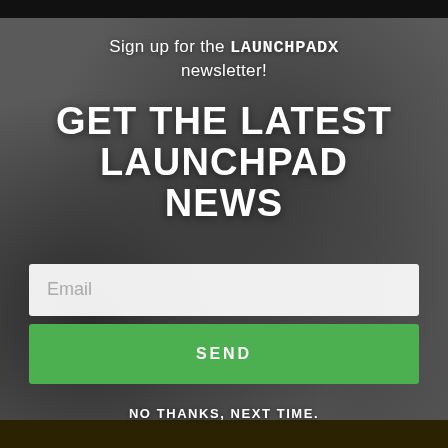Sign up for the LAUNCHPADX newsletter!
GET THE LATEST LAUNCHPAD NEWS
Email
SEND
NO THANKS, NEXT TIME.